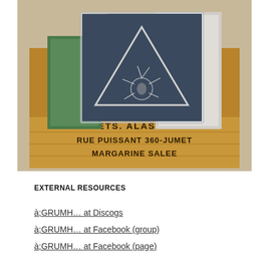[Figure (photo): A wooden crate labeled 'ETS. ALASKA / RUE PUISSANT 360-JUMET / MARGARINE SALEE' filled with vinyl records including one with a dark blue cover featuring a white triangle and a hand/spider design, stored in a plastic sleeve.]
EXTERNAL RESOURCES
à;GRUMH… at Discogs
à;GRUMH… at Facebook (group)
à;GRUMH… at Facebook (page)